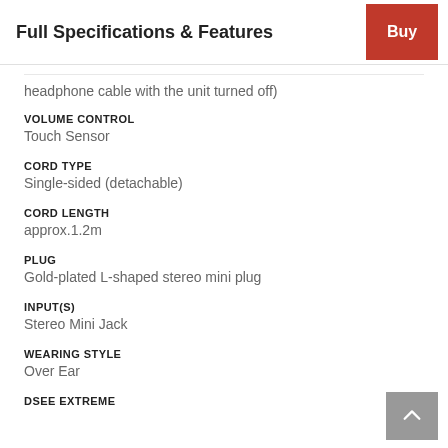Full Specifications & Features
headphone cable with the unit turned off)
VOLUME CONTROL
Touch Sensor
CORD TYPE
Single-sided (detachable)
CORD LENGTH
approx.1.2m
PLUG
Gold-plated L-shaped stereo mini plug
INPUT(S)
Stereo Mini Jack
WEARING STYLE
Over Ear
DSEE EXTREME